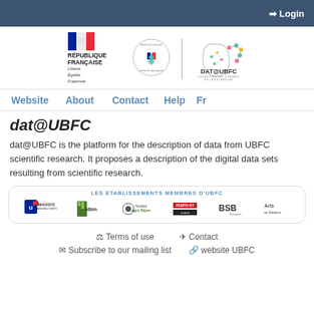Login
[Figure (logo): République Française logo with tricolor flag, Atelier de la donnée seal, and DAT@UBFC logo with neural network head graphic]
Website  About  Contact  Help  Fr
dat@UBFC
dat@UBFC is the platform for the description of data from UBFC scientific research. It proposes a description of the digital data sets resulting from scientific research.
LES ÉTABLISSEMENTS MEMBRES D'UBFC
[Figure (logo): Member institution logos: Université Franche-Comté, utbm, L'Institut agro Dijon, and other UBFC member institutions including BSB and Arts et Métiers]
Terms of use   Contact
Subscribe to our mailing list   website UBFC